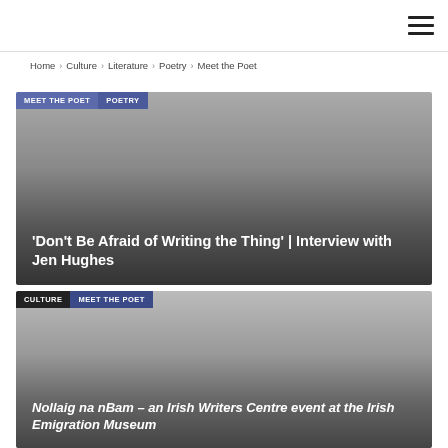Navigation header with hamburger menu
Home › Culture › Literature › Poetry › Meet the Poet
[Figure (photo): Article card with dark gradient overlay, tags 'MEET THE POET' and 'POETRY', and title text]
'Don't Be Afraid of Writing the Thing' | Interview with Jen Hughes
[Figure (photo): Article card with dark gradient overlay, tags 'CULTURE' and 'MEET THE POET', and title text]
Nollaig na nBam – an Irish Writers Centre event at the Irish Emigration Museum